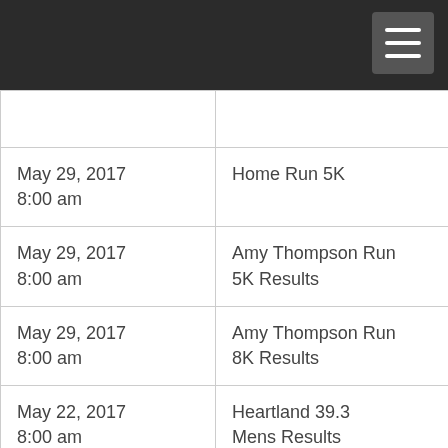|  |  |
| May 29, 2017
8:00 am | Home Run 5K |
| May 29, 2017
8:00 am | Amy Thompson Run
5K Results |
| May 29, 2017
8:00 am | Amy Thompson Run
8K Results |
| May 22, 2017
8:00 am | Heartland 39.3
Mens Results |
| May 21, 2017
8:00 am | Head For The Cure 5k |
| May 21, 2017 | Triumph Over Tragedy 5K |